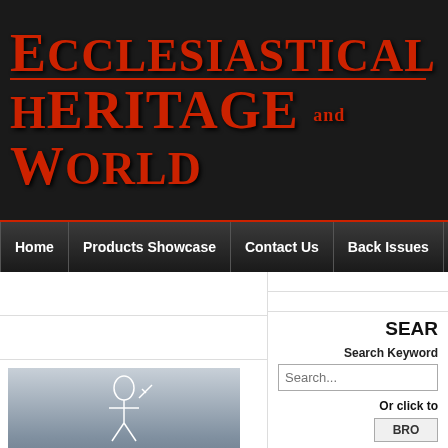[Figure (logo): Ecclesiastical and Heritage World logo — dark background with red serif text]
Home | Products Showcase | Contact Us | Back Issues | Training
[Figure (photo): Photo of a thatched building with a white knight illustration overlay and italic text 'Inspire']
SEARCH
Search Keyword...
Or click to
BRO